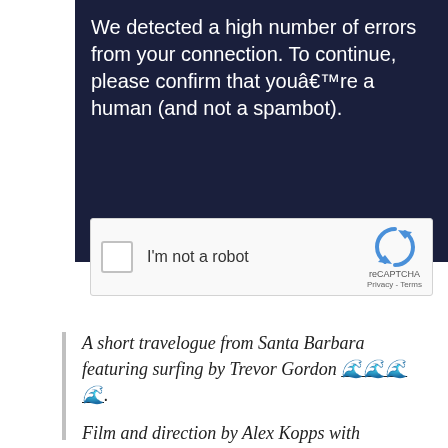We detected a high number of errors from your connection. To continue, please confirm that youâ€™re a human (and not a spambot).
[Figure (screenshot): reCAPTCHA widget with checkbox labeled 'I'm not a robot' and the reCAPTCHA logo with Privacy and Terms links]
A short travelogue from Santa Barbara featuring surfing by Trevor Gordon 🌊🌊🌊🌊.
Film and direction by Alex Kopps with